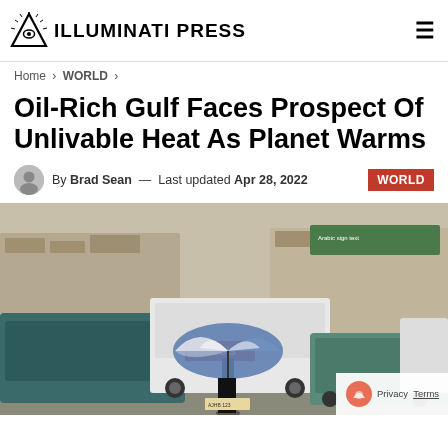ILLUMINATI PRESS
Home > WORLD >
Oil-Rich Gulf Faces Prospect Of Unlivable Heat As Planet Warms
By Brad Sean — Last updated Apr 28, 2022    WORLD
[Figure (photo): A person holding a large blue and white umbrella standing between cars in a parking lot in the Gulf region, with Arabic signage visible on storefronts in the background. A Mitsubishi truck is visible.]